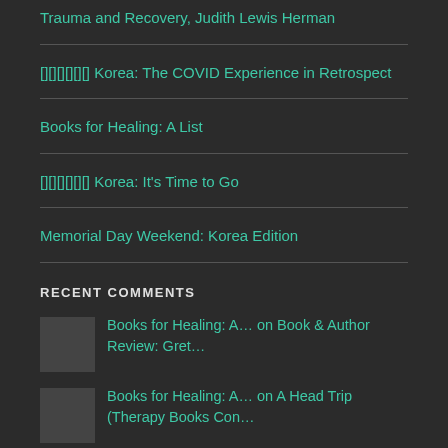Trauma and Recovery, Judith Lewis Herman
🇰🇷 Korea: The COVID Experience in Retrospect
Books for Healing: A List
🇰🇷 Korea: It's Time to Go
Memorial Day Weekend: Korea Edition
RECENT COMMENTS
Books for Healing: A… on Book & Author Review: Gret…
Books for Healing: A… on A Head Trip (Therapy Books Con…
Books for Healing: A… on A Trip Inside: Where I